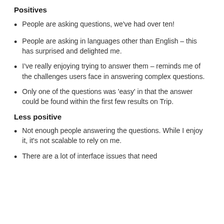Positives
People are asking questions, we've had over ten!
People are asking in languages other than English – this has surprised and delighted me.
I've really enjoying trying to answer them – reminds me of the challenges users face in answering complex questions.
Only one of the questions was 'easy' in that the answer could be found within the first few results on Trip.
Less positive
Not enough people answering the questions. While I enjoy it, it's not scalable to rely on me.
There are a lot of interface issues that need